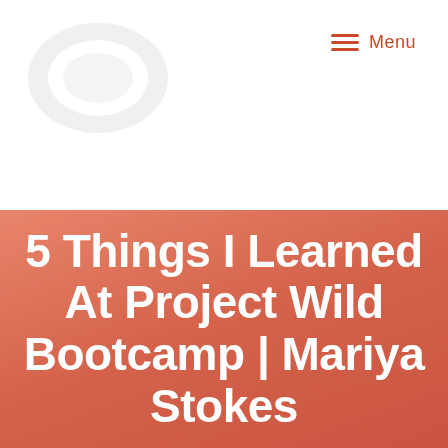[Figure (logo): Faint gray logo/watermark in top-left corner of white header area]
Menu
5 Things I Learned At Project Wild Bootcamp | Mariya Stokes